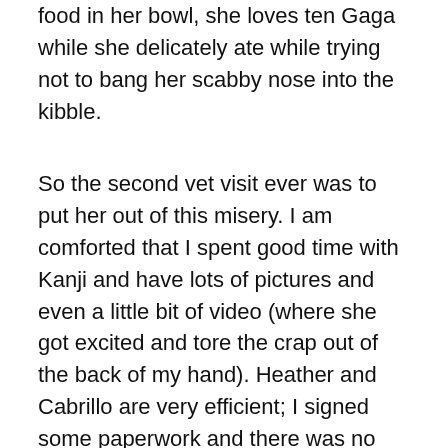food in her bowl, she loves ten Gaga while she delicately ate while trying not to bang her scabby nose into the kibble.
So the second vet visit ever was to put her out of this misery. I am comforted that I spent good time with Kanji and have lots of pictures and even a little bit of video (where she got excited and tore the crap out of the back of my hand). Heather and Cabrillo are very efficient; I signed some paperwork and there was no wait. We went right back to the exam room, and they gave me a scant two minutes to let Kanji out of the carrier and let her freak out and run around a little. As I put her back on the table for the procedure, I got one good look in her big baby blue eyes, and saw them change from fear to resignation to trust. I trust you. I. Trust. You. And that is how Kanji went forth into the great beyond.